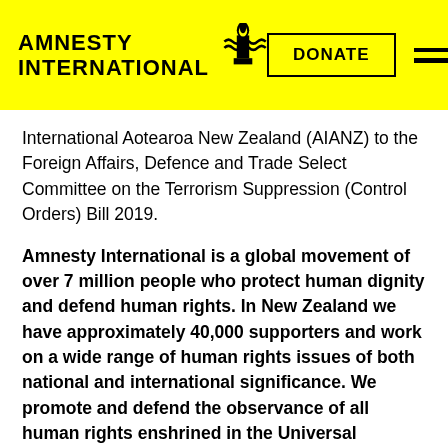AMNESTY INTERNATIONAL [logo] DONATE [menu]
International Aotearoa New Zealand (AIANZ) to the Foreign Affairs, Defence and Trade Select Committee on the Terrorism Suppression (Control Orders) Bill 2019.
Amnesty International is a global movement of over 7 million people who protect human dignity and defend human rights. In New Zealand we have approximately 40,000 supporters and work on a wide range of human rights issues of both national and international significance. We promote and defend the observance of all human rights enshrined in the Universal Declaration of Human Rights and other international standards.
This Bill empowers the High Court to restrict an individual's human rights in a high degree of intrusion generally only imposed following a criminal conviction.
This submission details some of AIANZ's concerns with